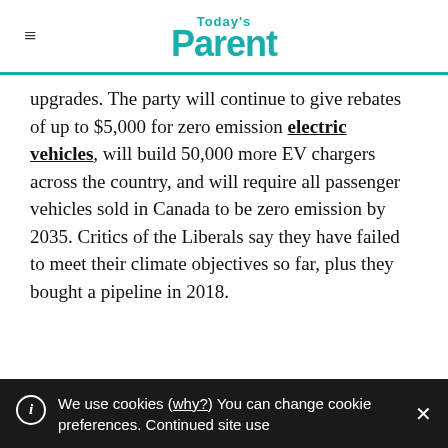Today's Parent
upgrades. The party will continue to give rebates of up to $5,000 for zero emission electric vehicles, will build 50,000 more EV chargers across the country, and will require all passenger vehicles sold in Canada to be zero emission by 2035. Critics of the Liberals say they have failed to meet their climate objectives so far, plus they bought a pipeline in 2018.
We use cookies (why?) You can change cookie preferences. Continued site use